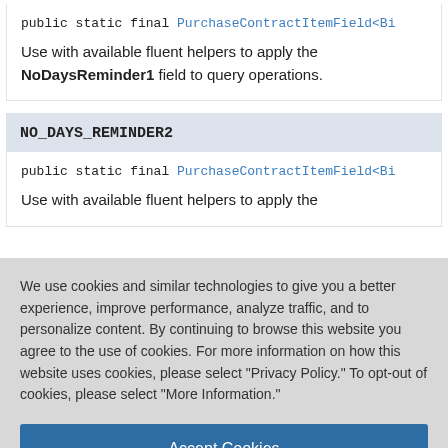public static final PurchaseContractItemField<Bi
Use with available fluent helpers to apply the NoDaysReminder1 field to query operations.
NO_DAYS_REMINDER2
public static final PurchaseContractItemField<Bi
Use with available fluent helpers to apply the
We use cookies and similar technologies to give you a better experience, improve performance, analyze traffic, and to personalize content. By continuing to browse this website you agree to the use of cookies. For more information on how this website uses cookies, please select "Privacy Policy." To opt-out of cookies, please select "More Information."
Accept Cookies
More Information
Privacy Policy | Powered by: TrustArc